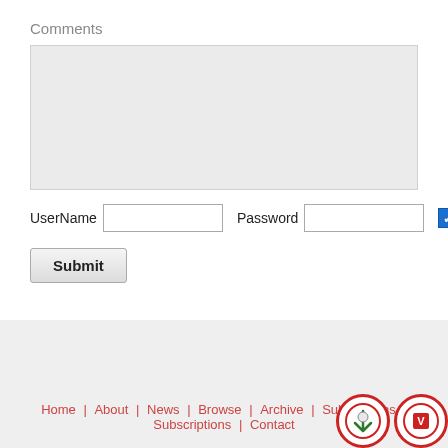Comments
[Figure (screenshot): Comment textarea input box (empty, light gray background)]
UserName  [text input]  Password  [text input]  [checked checkbox]  Anonymous  N...
Submit
Home | About | News | Browse | Archive | Submissions | Subscriptions | Contact